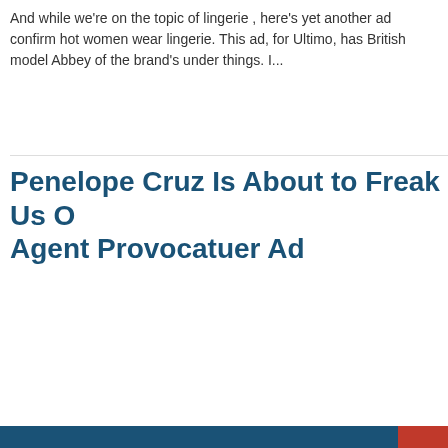And while we're on the topic of lingerie , here's yet another ad confirm hot women wear lingerie. This ad, for Ultimo, has British model Abbey of the brand's under things. I...
Penelope Cruz Is About to Freak Us Out With Her Agent Provocatuer Ad
[Figure (screenshot): Social sharing modal popup with Facebook, Twitter, and AddThis (+) buttons. Modal contains text: 'Like this page? Share it with your friends!' and a close (×) button. Social buttons shown as colored squares: Facebook (blue), Twitter (light blue), and AddThis (orange-red with + icon).]